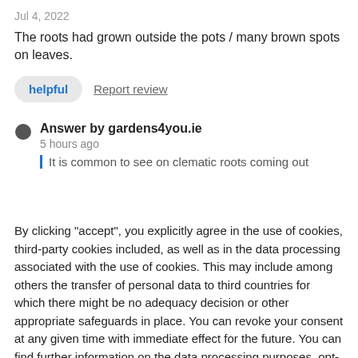Jul 4, 2022
The roots had grown outside the pots / many brown spots on leaves.
helpful   Report review
Answer by gardens4you.ie
5 hours ago
It is common to see on clematic roots coming out
By clicking "accept", you explicitly agree in the use of cookies, third-party cookies included, as well as in the data processing associated with the use of cookies. This may include among others the transfer of personal data to third countries for which there might be no adequacy decision or other appropriate safeguards in place. You can revoke your consent at any given time with immediate effect for the future. You can find further information on the data processing purposes, opt-out options, your rights, and the risks of data transfers to third countries here.
ACCEPT